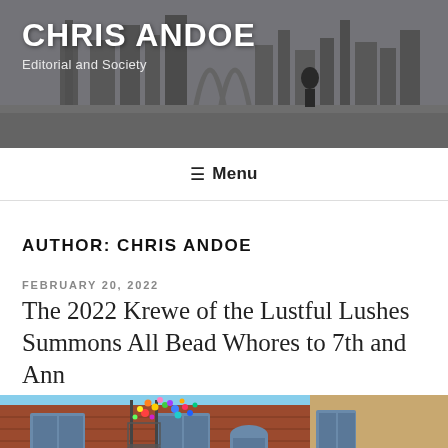[Figure (photo): Black and white cityscape header photo showing a person standing on a rooftop/bridge with city skyscrapers in the background. Title 'CHRIS ANDOE' and subtitle 'Editorial and Society' overlaid in white text.]
CHRIS ANDOE
Editorial and Society
≡ Menu
AUTHOR: CHRIS ANDOE
FEBRUARY 20, 2022
The 2022 Krewe of the Lustful Lushes Summons All Bead Whores to 7th and Ann
[Figure (photo): Color photo of a brick building with colorful balloons or confetti bursting from a fire escape balcony area, with blue sky visible.]